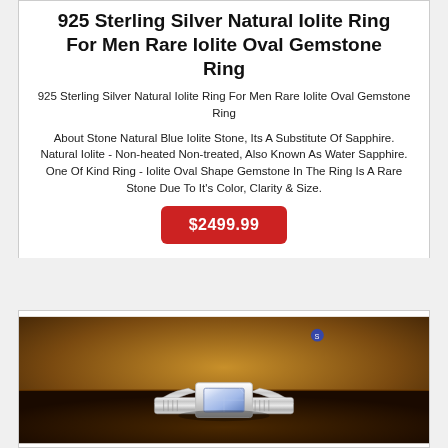925 Sterling Silver Natural Iolite Ring For Men Rare Iolite Oval Gemstone Ring
925 Sterling Silver Natural Iolite Ring For Men Rare Iolite Oval Gemstone Ring
About Stone Natural Blue Iolite Stone, Its A Substitute Of Sapphire. Natural Iolite - Non-heated Non-treated, Also Known As Water Sapphire. One Of Kind Ring - Iolite Oval Shape Gemstone In The Ring Is A Rare Stone Due To It's Color, Clarity & Size.
$2499.99
[Figure (photo): Silver men's ring with rectangular gemstone set in center, displayed on a dark wooden surface with warm blurred background]